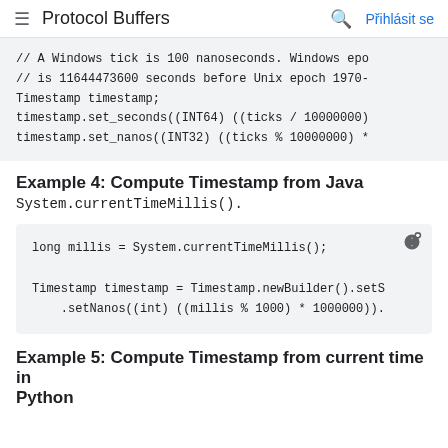Protocol Buffers | Přihlásit se
// A Windows tick is 100 nanoseconds. Windows epo
// is 11644473600 seconds before Unix epoch 1970-
Timestamp timestamp;
timestamp.set_seconds((INT64) ((ticks / 10000000)
timestamp.set_nanos((INT32) ((ticks % 10000000) *
Example 4: Compute Timestamp from Java System.currentTimeMillis().
long millis = System.currentTimeMillis();

Timestamp timestamp = Timestamp.newBuilder().setS
    .setNanos((int) ((millis % 1000) * 1000000)).
Example 5: Compute Timestamp from current time in Python